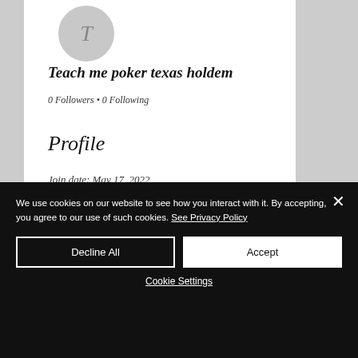Teach me poker texas holdem
0 Followers • 0 Following
Profile
Join date: May 17, 2022
About
We use cookies on our website to see how you interact with it. By accepting, you agree to our use of such cookies. See Privacy Policy
Decline All
Accept
Cookie Settings